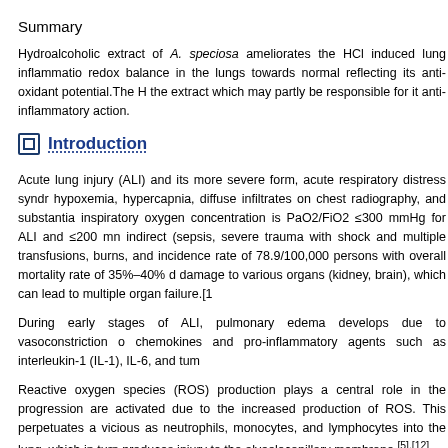Summary
Hydroalcoholic extract of A. speciosa ameliorates the HCl induced lung inflammation and restores redox balance in the lungs towards normal reflecting its anti-oxidant potential.The H... the extract which may partly be responsible for it anti-inflammatory action.
Introduction
Acute lung injury (ALI) and its more severe form, acute respiratory distress syndrome... hypoxemia, hypercapnia, diffuse infiltrates on chest radiography, and substantial... inspiratory oxygen concentration is PaO2/FiO2 ≤300 mmHg for ALI and ≤200 mn... indirect (sepsis, severe trauma with shock and multiple transfusions, burns, and... incidence rate of 78.9/100,000 persons with overall mortality rate of 35%–40% d... damage to various organs (kidney, brain), which can lead to multiple organ failure.[1
During early stages of ALI, pulmonary edema develops due to vasoconstriction o... chemokines and pro-inflammatory agents such as interleukin-1 (IL-1), IL-6, and tum...
Reactive oxygen species (ROS) production plays a central role in the progression... are activated due to the increased production of ROS. This perpetuates a vicious... as neutrophils, monocytes, and lymphocytes into the lung, which in turn produces... injury to the alveolocapillary membrane.[5],[12]
Arruusia speciasa is a popular Indian medicinal plant and an important #Recov...